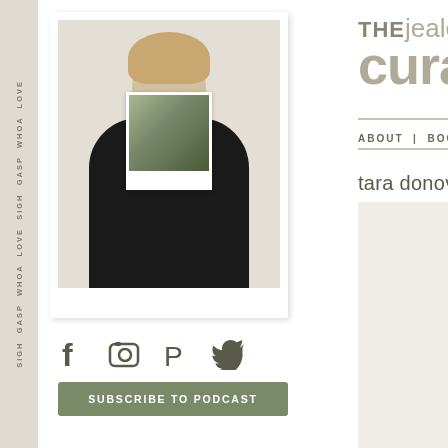SIGH GASP WHOA LOVE SIGH GASP WHOA
[Figure (photo): Polaroid-style photo of a person holding a small photo in front of their face, wearing a black top, with blonde hair]
[Figure (infographic): Social media icons: Facebook, Instagram, Pinterest, Twitter]
SUBSCRIBE TO PODCAST
SUBMIT YOUR WORK
SEARCH :
THE jealous curate
ABOUT | BOOKS
tara donovan
[Figure (photo): Artwork photo showing white fluffy/fur-like material with dark diagonal line, by Tara Donovan]